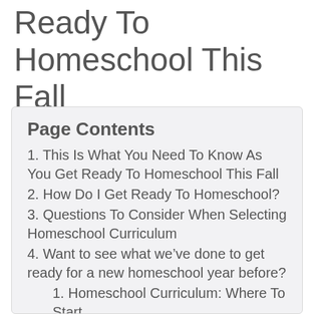Ready To Homeschool This Fall
Page Contents
1. This Is What You Need To Know As You Get Ready To Homeschool This Fall
2. How Do I Get Ready To Homeschool?
3. Questions To Consider When Selecting Homeschool Curriculum
4. Want to see what we’ve done to get ready for a new homeschool year before?
1. Homeschool Curriculum: Where To Start